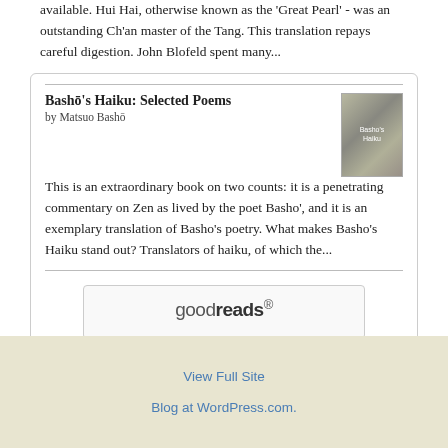available. Hui Hai, otherwise known as the 'Great Pearl' - was an outstanding Ch'an master of the Tang. This translation repays careful digestion. John Blofeld spent many...
Bashō's Haiku: Selected Poems
by Matsuo Bashō
This is an extraordinary book on two counts: it is a penetrating commentary on Zen as lived by the poet Basho', and it is an exemplary translation of Basho's poetry. What makes Basho's Haiku stand out? Translators of haiku, of which the...
[Figure (logo): Goodreads logo button]
View Full Site
Blog at WordPress.com.